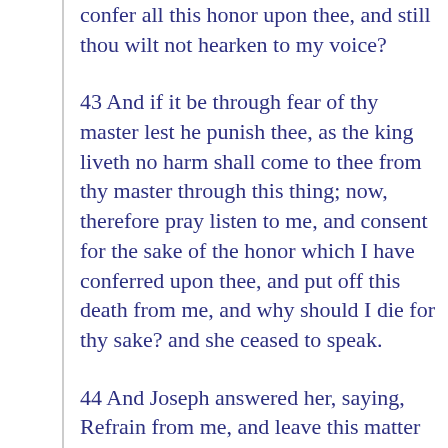confer all this honor upon thee, and still thou wilt not hearken to my voice?
43 And if it be through fear of thy master lest he punish thee, as the king liveth no harm shall come to thee from thy master through this thing; now, therefore pray listen to me, and consent for the sake of the honor which I have conferred upon thee, and put off this death from me, and why should I die for thy sake? and she ceased to speak.
44 And Joseph answered her, saying, Refrain from me, and leave this matter to